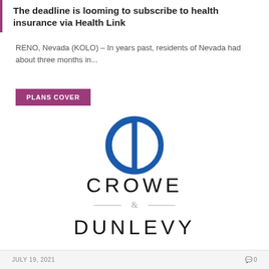The deadline is looming to subscribe to health insurance via Health Link
RENO, Nevada (KOLO) – In years past, residents of Nevada had about three months in...
PLANS COVER
[Figure (logo): Crowe & Dunlevy logo: a blue circle with a vertical line through the center forming a D shape, with the text CROWE & DUNLEVY in black serif/sans letters below]
JULY 19, 2021   0